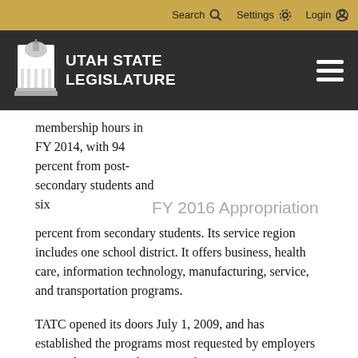Search  Settings  Login
[Figure (logo): Utah State Legislature logo with capitol building icon and white text on dark background]
membership hours in FY 2014, with 94 percent from post-secondary students and six percent from secondary students. Its service region includes one school district. It offers business, health care, information technology, manufacturing, service, and transportation programs.
FY 2016 Appropriation
TATC opened its doors July 1, 2009, and has established the programs most requested by employers in Tooele County. The campus began operations in its new 74,000 sq. foot facility in June 2013. Education and training